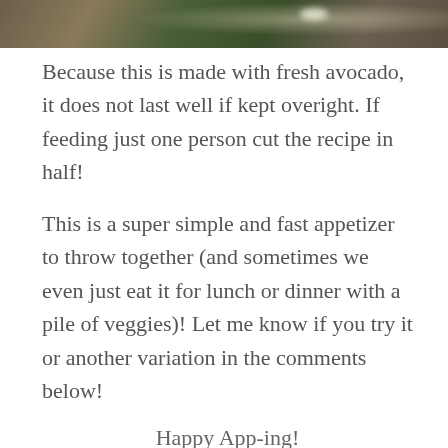[Figure (photo): Cropped outdoor photo strip at top of page showing a green and brown landscape scene]
Because this is made with fresh avocado, it does not last well if kept overight. If feeding just one person cut the recipe in half!
This is a super simple and fast appetizer to throw together (and sometimes we even just eat it for lunch or dinner with a pile of veggies)! Let me know if you try it or another variation in the comments below!
Happy App-ing!
Let's stay connected!
If you aren't already my friend, feel free to add me